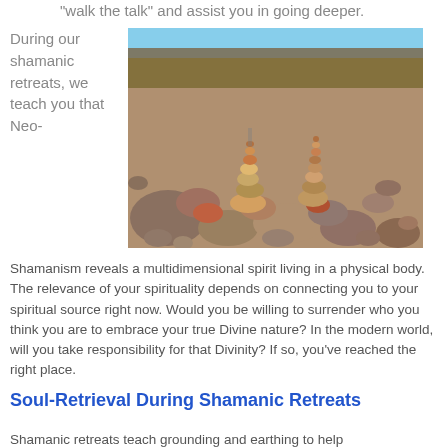"walk the talk" and assist you in going deeper.
During our shamanic retreats, we teach you that Neo-
[Figure (photo): Stacked stone cairns on a rocky riverbed with dry brush and trees in background]
Shamanism reveals a multidimensional spirit living in a physical body. The relevance of your spirituality depends on connecting you to your spiritual source right now. Would you be willing to surrender who you think you are to embrace your true Divine nature? In the modern world, will you take responsibility for that Divinity? If so, you've reached the right place.
Soul-Retrieval During Shamanic Retreats
Shamanic retreats teach grounding and earthing to help